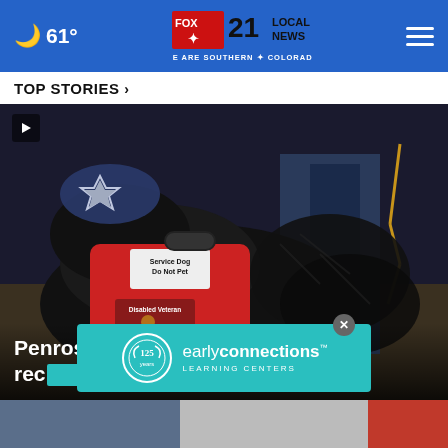61° FOX 21 LOCAL NEWS - WE ARE SOUTHERN COLORADO
TOP STORIES ›
[Figure (photo): Close-up photo of a black service dog wearing a red vest labeled 'Service Dog Do Not Pet' and 'Disabled Veteran', with a star-patterned hat. A leash and person's legs visible in background.]
Penrose veteran receives national recognition for...
[Figure (logo): Early Connections Learning Centers advertisement banner with teal background, 125 years logo, and brand name.]
[Figure (photo): Partial thumbnail images at the bottom of the page showing additional news story previews.]